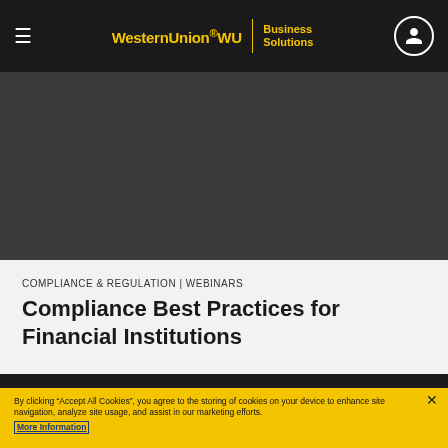Western Union WU Business Solutions
[Figure (photo): Dark gray banner image area for a webinar page]
COMPLIANCE & REGULATION | WEBINARS
Compliance Best Practices for Financial Institutions
By clicking “Accept All Cookies”, you agree to the storing of cookies on your device to enhance site navigation, analyze site usage, and assist in our marketing efforts.
More Information